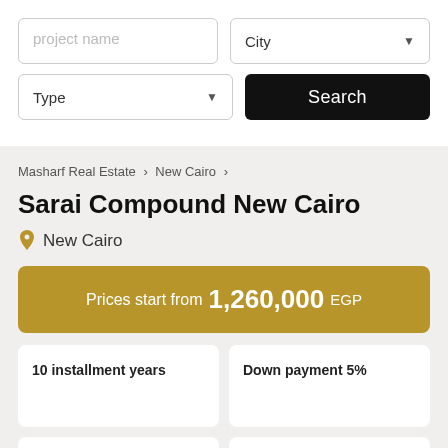[Figure (screenshot): Search form with project name input, City dropdown, Type dropdown, and Search button]
Masharf Real Estate > New Cairo >
Sarai Compound New Cairo
New Cairo
Prices start from 1,260,000 EGP
10 installment years
Down payment 5%
Delivery 2022
Spaces starting from 126 m2